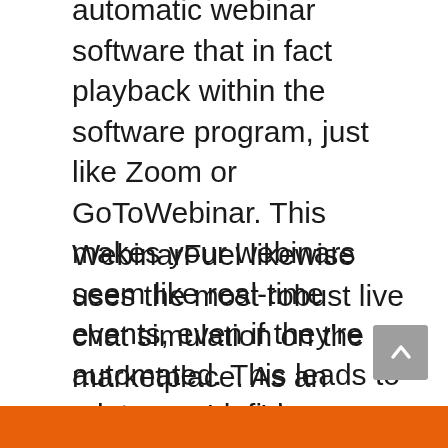automatic webinar software that in fact playback within the software program, just like Zoom or GoToWebinar. This makes your webinars seem like real-time events, even if they're automated. This leads to a lot more deficiency, even more watch time, and also far better results.
WebinarFuel likewise uses the most robust live chat simulation on the marketplace. As an automated webinar platform, it is extremely important to have a great “live” conversation to make your occasions feel extra active. WebinarFuel makes your automatic webinars seem like a Real-time experience.